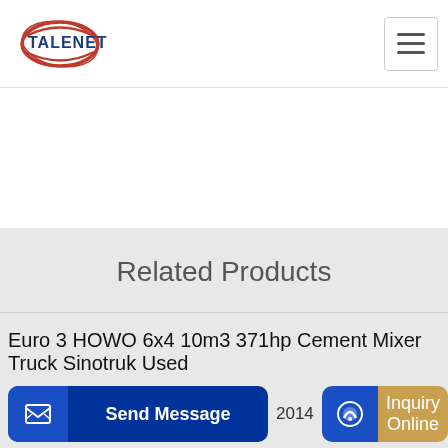TALENET
Related Products
Euro 3 HOWO 6x4 10m3 371hp Cement Mixer Truck Sinotruk Used
Concrete pump truck Putzmeister BSA 1409 D from
2014
Send Message
Inquiry Online